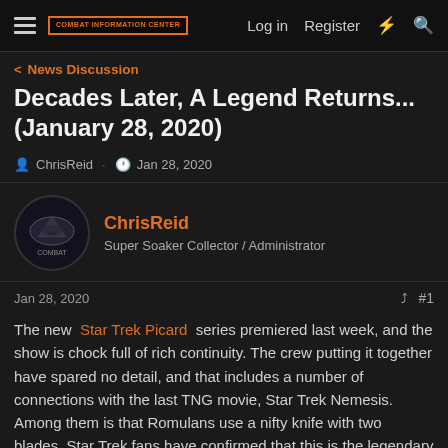Combat Information Center — Log in  Register
< News Discussion
Decades Later, A Legend Returns... (January 28, 2020)
ChrisReid · Jan 28, 2020
ChrisReid
Super Soaker Collector / Administrator
Jan 28, 2020   #1
The new Star Trek Picard series premiered last week, and the show is chock full of rich continuity. The crew putting it together have spared no detail, and that includes a number of connections with the last TNG movie, Star Trek Nemesis. Among them is that Romulans use a nifty knife with two blades. Star Trek fans have confirmed that this is the legendary Double Shadow knife designed by Gil Hibben in 1991. Wing Commander fans will also recognize it as Seether's iconic and